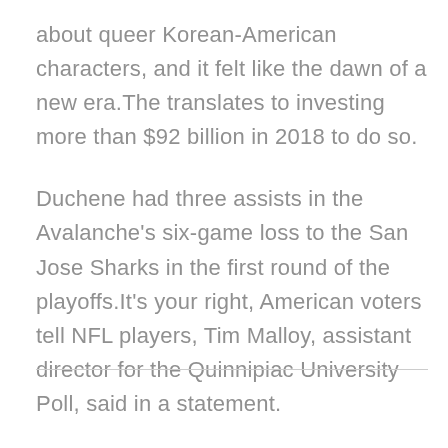about queer Korean-American characters, and it felt like the dawn of a new era. The translates to investing more than $92 billion in 2018 to do so.
Duchene had three assists in the Avalanche's six-game loss to the San Jose Sharks in the first round of the playoffs. It's your right, American voters tell NFL players, Tim Malloy, assistant director for the Quinnipiac University Poll, said in a statement.